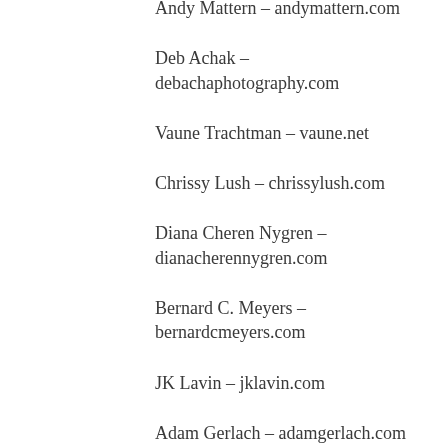Andy Mattern – andymattern.com
Deb Achak – debachaphotography.com
Vaune Trachtman – vaune.net
Chrissy Lush – chrissylush.com
Diana Cheren Nygren – dianacherennygren.com
Bernard C. Meyers – bernardcmeyers.com
JK Lavin – jklavin.com
Adam Gerlach – adamgerlach.com
Carol Isaak – carolisaakphoto.com